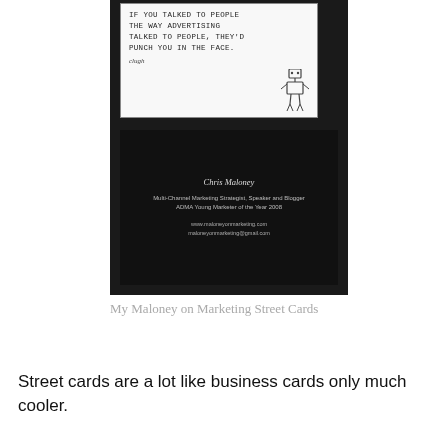[Figure (photo): Two business/street cards. The top card is white with handwritten text reading: 'IF YOU TALKED TO PEOPLE THE WAY ADVERTISING TALKED TO PEOPLE, THEY'D PUNCH YOU IN THE FACE.' with a signature 'clugh' and a small robot drawing. The bottom card is dark/black with white text showing Chris Maloney's contact details.]
My Maloney on Marketing Street Cards
Street cards are a lot like business cards only much cooler.